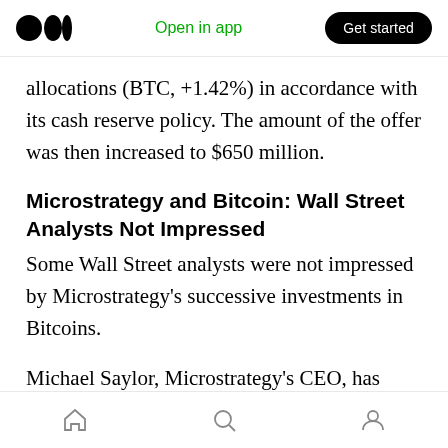Open in app | Get started
allocations (BTC, +1.42%) in accordance with its cash reserve policy. The amount of the offer was then increased to $650 million.
Microstrategy and Bitcoin: Wall Street Analysts Not Impressed
Some Wall Street analysts were not impressed by Microstrategy's successive investments in Bitcoins.
Michael Saylor, Microstrategy's CEO, has been accused by some of having turned his company into an investment company (IC) or launched an
home | search | profile